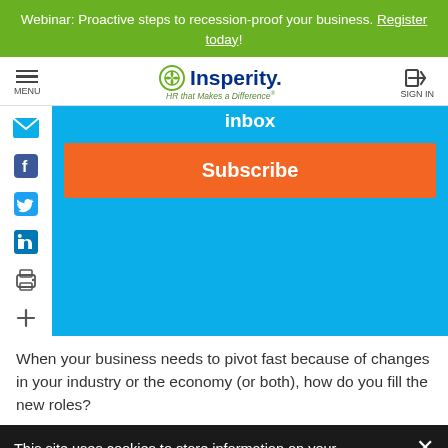Webinar: Proactive steps to recession-proof your business. Register today!
[Figure (logo): Insperity logo with HR that Makes a Difference tagline, navigation bar with menu and sign in]
inbox
Subscribe
When your business needs to pivot fast because of changes in your industry or the economy (or both), how do you fill the new roles?
This site uses cookies to store information on your computer. Some are essential to make our site work; others help us improve the user experience. By using the site, you consent to the placement of these cookies. Read our privacy policy to learn more.